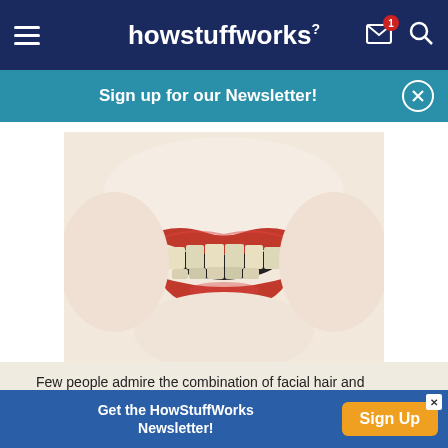howstuffworks
Sign up for our Newsletter!
[Figure (photo): Close-up photo of a woman smiling with red lipstick, showing teeth]
Few people admire the combination of facial hair and lipstick. See more pictures of personal hygiene practices.
JOHN RENSTEN/LIFESIZE/GETTY
Get the HowStuffWorks Newsletter!